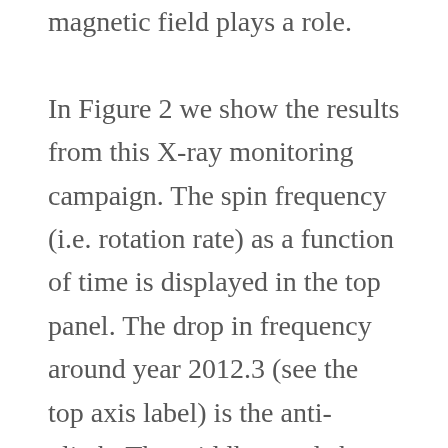magnetic field plays a role.  In Figure 2 we show the results from this X-ray monitoring campaign.  The spin frequency (i.e. rotation rate) as a function of time is displayed in the top panel.  The drop in frequency around year 2012.3 (see the top axis label) is the anti-glitch.  The middle panel shows the residuals when you subtract a single rotational frequency, decaying at a constant rate, from the data in the top panel.